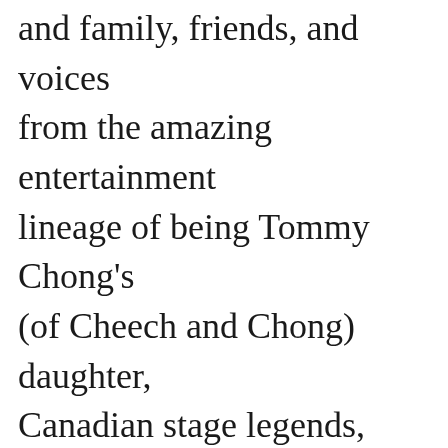and family, friends, and voices from the amazing entertainment lineage of being Tommy Chong's (of Cheech and Chong) daughter, Canadian stage legends, John Jarvis, Jane Spidell, and Peter Millard, all of whom are considered among the best stage actors ever produced in this country, and to an amazing young